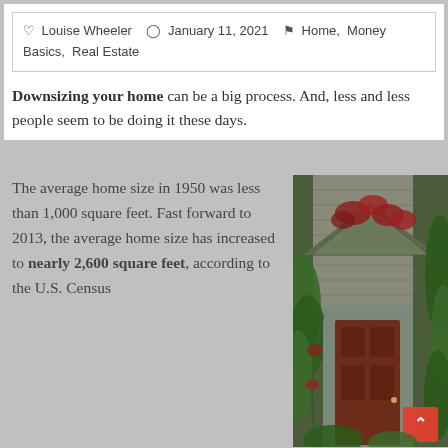Louise Wheeler   January 11, 2021   Home, Money Basics, Real Estate
Downsizing your home can be a big process. And, less and less people seem to be doing it these days.
The average home size in 1950 was less than 1,000 square feet. Fast forward to 2013, the average home size has increased to nearly 2,600 square feet, according to the U.S. Census
[Figure (photo): Old rustic wooden house with red climbing vines and lush green foliage surrounding the entrance door]